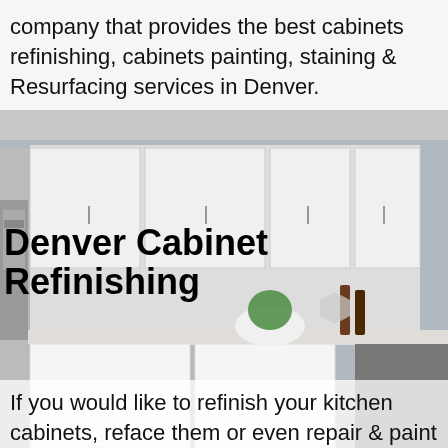company that provides the best cabinets refinishing, cabinets painting, staining & Resurfacing services in Denver.
[Figure (photo): Interior photo of a modern white kitchen with marble backsplash, white upper and lower cabinets, stainless steel appliances, and decorative items on the counter including a bowl of greens and wine bottles.]
Denver Cabinet Refinishing
If you would like to refinish your kitchen cabinets, reface them or even repair & paint them with doors, we can help.
Want to get new custom kitchen cabinets, new kitchen countertops, new backsplash, new kitchen flooring, get a total new kitchen